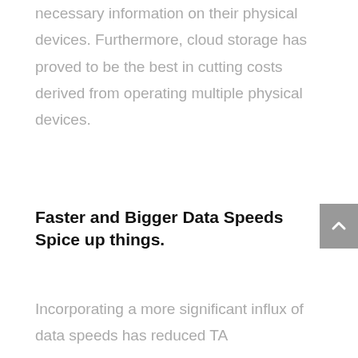necessary information on their physical devices. Furthermore, cloud storage has proved to be the best in cutting costs derived from operating multiple physical devices.
Faster and Bigger Data Speeds Spice up things.
Incorporating a more significant influx of data speeds has reduced TA